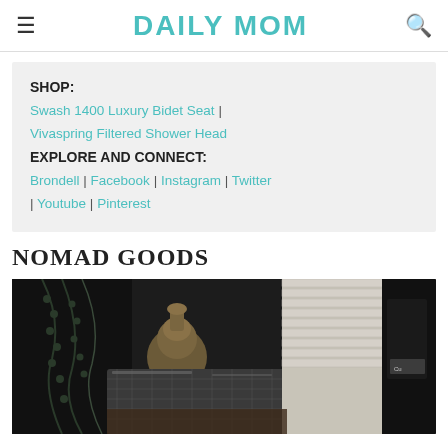DAILY MOM
SHOP: Swash 1400 Luxury Bidet Seat | Vivaspring Filtered Shower Head EXPLORE AND CONNECT: Brondell | Facebook | Instagram | Twitter | Youtube | Pinterest
NOMAD GOODS
[Figure (photo): Dark moody photo of a bedside table with a lamp, beaded necklace, metallic tray, and a black product box, with window blinds in background]